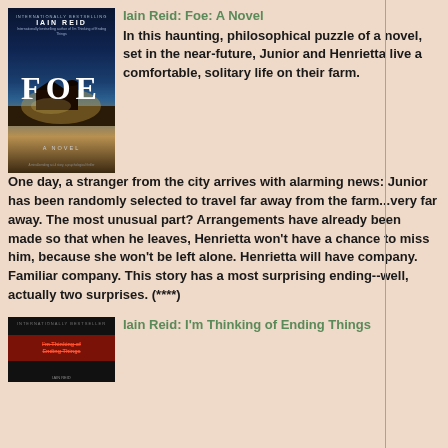Iain Reid: Foe: A Novel
In this haunting, philosophical puzzle of a novel, set in the near-future, Junior and Henrietta live a comfortable, solitary life on their farm. One day, a stranger from the city arrives with alarming news: Junior has been randomly selected to travel far away from the farm...very far away. The most unusual part? Arrangements have already been made so that when he leaves, Henrietta won't have a chance to miss him, because she won't be left alone. Henrietta will have company. Familiar company. This story has a most surprising ending--well, actually two surprises. (****)
[Figure (photo): Book cover of 'Foe' by Iain Reid showing a dark atmospheric scene with a farmhouse and silo under a dramatic night sky]
Iain Reid: I'm Thinking of Ending Things
[Figure (photo): Book cover of 'I'm Thinking of Ending Things' by Iain Reid with dark background and red band with text]